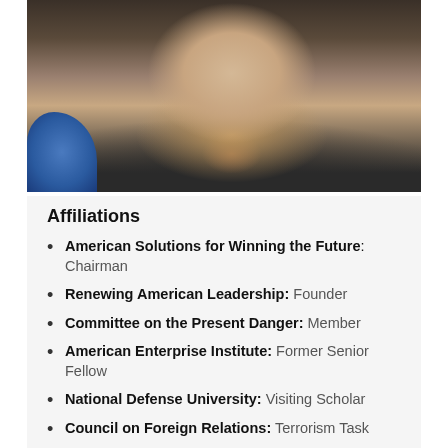[Figure (photo): Portrait photo of an older man in a dark suit with a purple/maroon tie, photographed from chest up against a dark background with blue element visible]
Affiliations
American Solutions for Winning the Future: Chairman
Renewing American Leadership: Founder
Committee on the Present Danger: Member
American Enterprise Institute: Former Senior Fellow
National Defense University: Visiting Scholar
Council on Foreign Relations: Terrorism Task